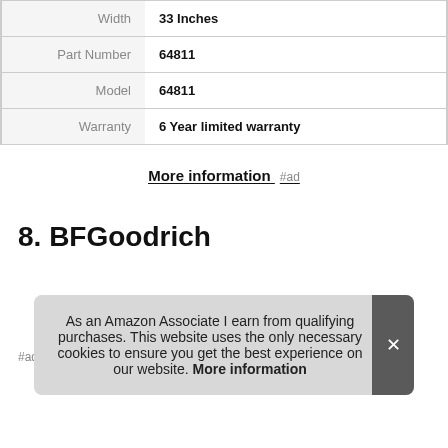| Width | 33 Inches |
| Part Number | 64811 |
| Model | 64811 |
| Warranty | 6 Year limited warranty |
More information #ad
8. BFGoodrich
#ad
As an Amazon Associate I earn from qualifying purchases. This website uses the only necessary cookies to ensure you get the best experience on our website. More information